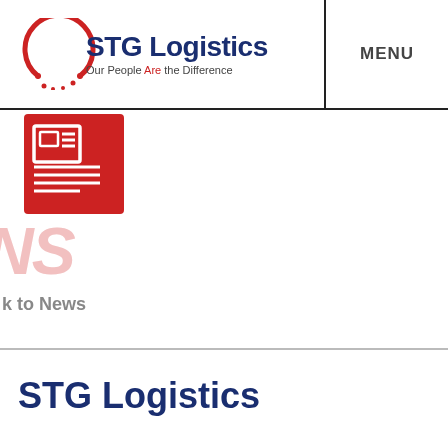[Figure (logo): STG Logistics logo with red arc/circle and text 'STG Logistics' in dark navy, tagline 'Our People Are the Difference' with 'Are' in red]
MENU
[Figure (illustration): Red square icon with a newspaper/article symbol in white]
NS
k to News
STG Logistics